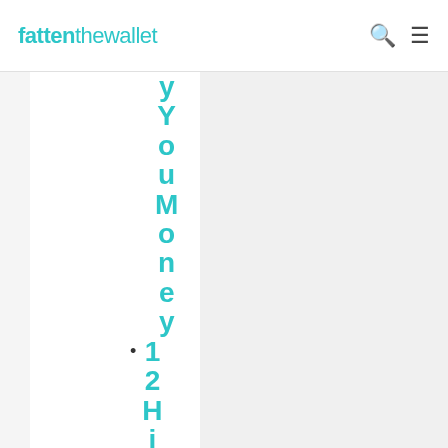fattenthewallet
y Y o u M o n e y
1 2 H i